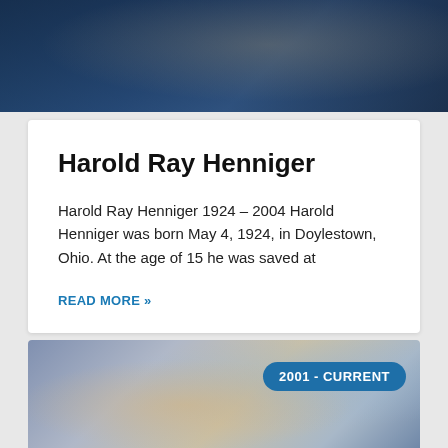[Figure (photo): Dark blue photo of a person at the top of the page]
Harold Ray Henniger
Harold Ray Henniger 1924 – 2004 Harold Henniger was born May 4, 1924, in Doylestown, Ohio. At the age of 15 he was saved at
READ MORE »
[Figure (photo): Painting or photo with sky/clouds, with a badge overlay reading '2001 - CURRENT']